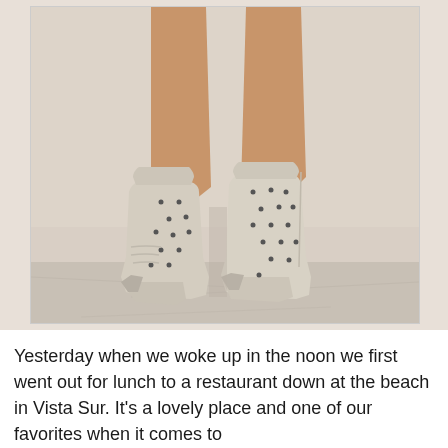[Figure (photo): Close-up photo of a person's legs wearing white/cream knee-high cowboy-style boots with small stud decorations, standing against a light beige wall with a marble floor visible at the bottom.]
Yesterday when we woke up in the noon we first went out for lunch to a restaurant down at the beach in Vista Sur. It's a lovely place and one of our favorites when it comes to